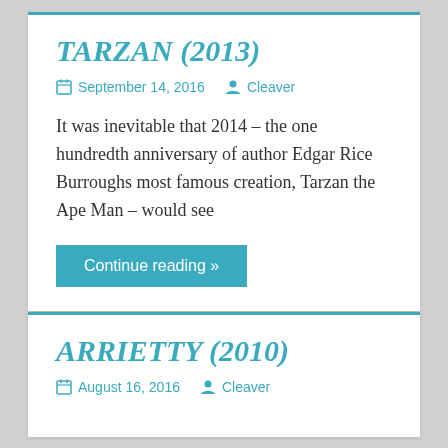TARZAN (2013)
September 14, 2016   Cleaver
It was inevitable that 2014 – the one hundredth anniversary of author Edgar Rice Burroughs most famous creation, Tarzan the Ape Man – would see
Continue reading »
ARRIETTY (2010)
August 16, 2016   Cleaver